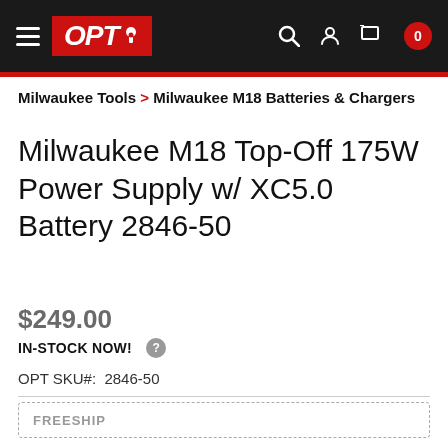[Figure (logo): OPT Tools website header with hamburger menu, red OPT logo, search icon, user icon, cart icon with 0 badge, on black background with red bottom bar]
Milwaukee Tools > Milwaukee M18 Batteries & Chargers
Milwaukee M18 Top-Off 175W Power Supply w/ XC5.0 Battery 2846-50
$249.00
IN-STOCK NOW!
OPT SKU#:  2846-50
FREESHIP